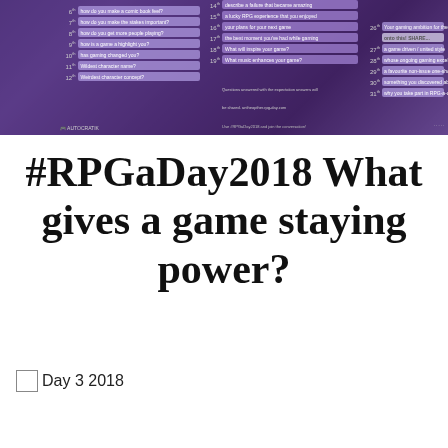[Figure (infographic): RPGaDay 2018 promotional banner with purple gradient background showing a numbered grid of questions across three columns, with small colored bars and white/light text labels.]
#RPGaDay2018 What gives a game staying power?
Day 3 2018